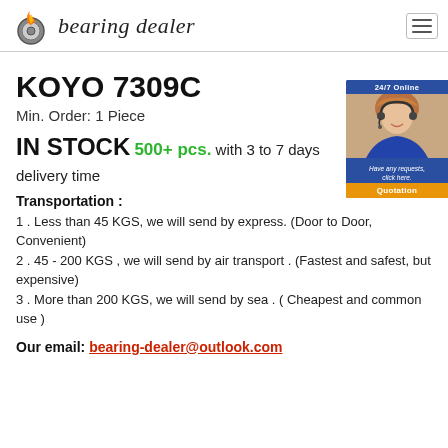bearing dealer
KOYO 7309C
Min. Order: 1 Piece
IN STOCK 500+ pcs. with 3 to 7 days delivery time
[Figure (photo): 24/7 Online customer service representative with headset, with 'Have any requests, click here.' text and Quotation button]
Transportation :
1 . Less than 45 KGS, we will send by express. (Door to Door, Convenient)
2 . 45 - 200 KGS , we will send by air transport . (Fastest and safest, but expensive)
3 . More than 200 KGS, we will send by sea . ( Cheapest and common use )
Our email: bearing-dealer@outlook.com